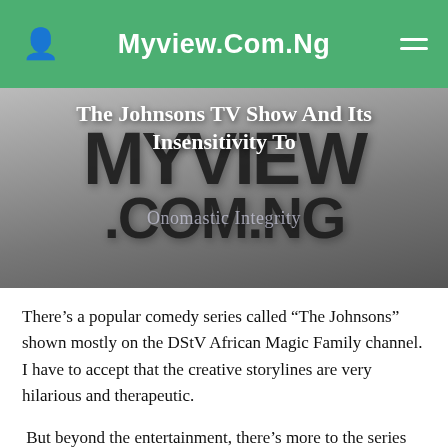Myview.Com.Ng
The Johnsons TV Show And Its Insensitivity To Onomastic Integrity
[Figure (logo): Myview.Com.Ng website logo with large bold text MYVIEW and .COM.NG on dark blurred background, with article title overlaid in white]
There’s a popular comedy series called “The Johnsons” shown mostly on the DStV African Magic Family channel. I have to accept that the creative storylines are very hilarious and therapeutic.
But beyond the entertainment, there’s more to the series that require scrupulous attention.